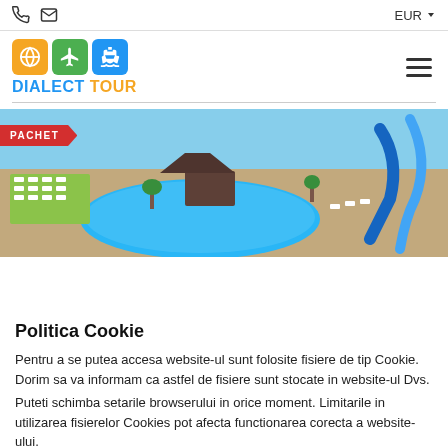EUR ▼
[Figure (logo): Dialect Tour logo with globe, plane, and ship icons in orange, green, and blue rounded squares, and text DIALECT TOUR]
[Figure (photo): Aerial view of a resort waterpark with a large pool, lounge chairs, palm trees, and water slides]
Politica Cookie
Pentru a se putea accesa website-ul sunt folosite fisiere de tip Cookie. Dorim sa va informam ca astfel de fisiere sunt stocate in website-ul Dvs.
Puteti schimba setarile browserului in orice moment. Limitarile in utilizarea fisierelor Cookies pot afecta functionarea corecta a website-ului.
Sunt de acord
Nu sunt de acord